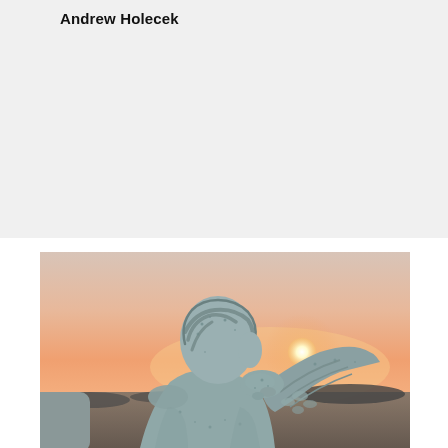Andrew Holecek
[Figure (photo): A stone angel statue with wings, viewed from behind, silhouetted against a warm orange and pink sunset sky with the sun visible on the horizon.]